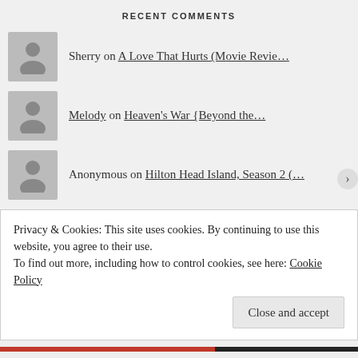RECENT COMMENTS
Sherry on A Love That Hurts (Movie Revie…
Melody on Heaven's War {Beyond the…
Anonymous on Hilton Head Island, Season 2 (…
Anna on Hilton Head Island, Season 2 (…
Carol on The Borrowed Christmas (Movie…
Anonymous on Translated [2018] (Movie Revie…
Privacy & Cookies: This site uses cookies. By continuing to use this website, you agree to their use.
To find out more, including how to control cookies, see here: Cookie Policy